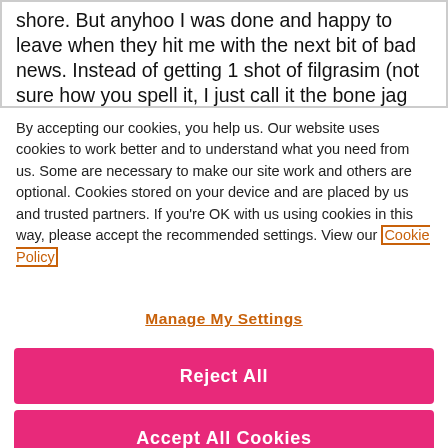shore. But anyhoo I was done and happy to leave when they hit me with the next bit of bad news. Instead of getting 1 shot of filgrasim (not sure how you spell it, I just call it the bone jag cos it hurts
By accepting our cookies, you help us. Our website uses cookies to work better and to understand what you need from us. Some are necessary to make our site work and others are optional. Cookies stored on your device and are placed by us and trusted partners. If you're OK with us using cookies in this way, please accept the recommended settings. View our Cookie Policy
Manage My Settings
Reject All
Accept All Cookies